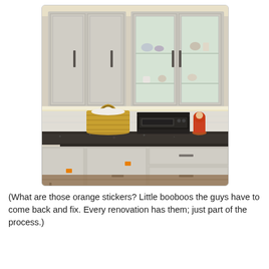[Figure (photo): Kitchen interior showing white upper cabinets (two with glass doors displaying dishes and decorative items), dark granite countertop with a wicker basket, black toaster oven, and a small decorative figurine. White lower cabinets with drawer pulls visible. Orange sticker tags on some cabinet doors and drawers. Under-cabinet lighting illuminating the backsplash.]
(What are those orange stickers? Little booboos the guys have to come back and fix. Every renovation has them; just part of the process.)